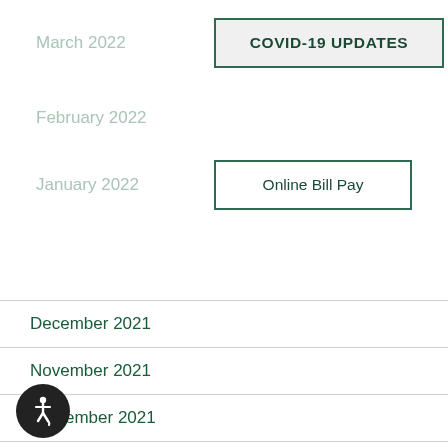March 2022
COVID-19 UPDATES
February 2022
Online Bill Pay
January 2022
December 2021
November 2021
September 2021
August 2021
July 2021
June 2021
May 2021
April 2021
March 2021